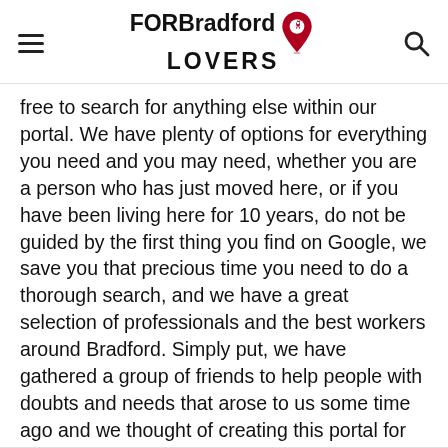FOR Bradford LOVERS
free to search for anything else within our portal. We have plenty of options for everything you need and you may need, whether you are a person who has just moved here, or if you have been living here for 10 years, do not be guided by the first thing you find on Google, we save you that precious time you need to do a thorough search, and we have a great selection of professionals and the best workers around Bradford. Simply put, we have gathered a group of friends to help people with doubts and needs that arose to us some time ago and we thought of creating this portal for people who need it. We hope you like our content about personal trainers and everything related to Bradford updated day by day and that you use it at your convenience.